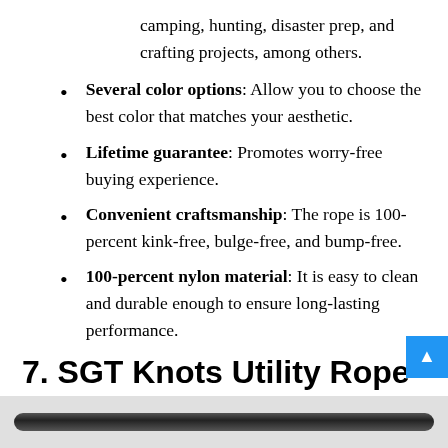camping, hunting, disaster prep, and crafting projects, among others.
Several color options: Allow you to choose the best color that matches your aesthetic.
Lifetime guarantee: Promotes worry-free buying experience.
Convenient craftsmanship: The rope is 100-percent kink-free, bulge-free, and bump-free.
100-percent nylon material: It is easy to clean and durable enough to ensure long-lasting performance.
7. SGT Knots Utility Rope
[Figure (photo): Bottom portion of a rope product image, partially visible at the bottom of the page.]